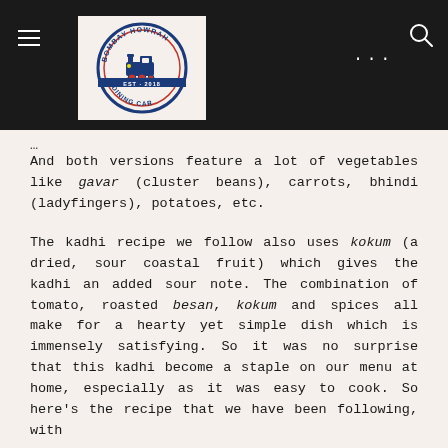[Figure (logo): Bombay Howrah Dining Car circular logo with a train engine in the center, blue and red text around the border on a cream background]
And both versions feature a lot of vegetables like gavar (cluster beans), carrots, bhindi (ladyfingers), potatoes, etc.
The kadhi recipe we follow also uses kokum (a dried, sour coastal fruit) which gives the kadhi an added sour note. The combination of tomato, roasted besan, kokum and spices all make for a hearty yet simple dish which is immensely satisfying. So it was no surprise that this kadhi become a staple on our menu at home, especially as it was easy to cook. So here's the recipe that we have been following, with